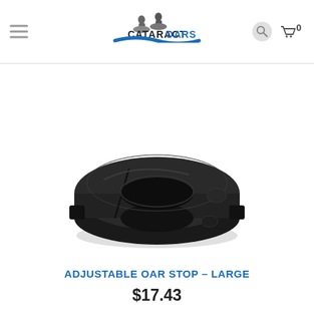[Figure (logo): Cataract Oars logo with two figures on rocks, company name CATARACT OARS in bold, and blue wave/river swoosh beneath]
[Figure (photo): Black adjustable oar stop (large) - a thick ring-shaped clamp collar made of black plastic/rubber with a hole in the center and notches on the sides]
ADJUSTABLE OAR STOP – LARGE
$17.43